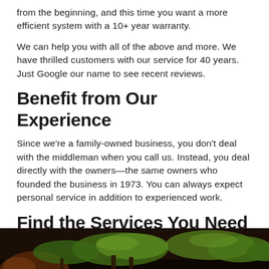from the beginning, and this time you want a more efficient system with a 10+ year warranty.
We can help you with all of the above and more. We have thrilled customers with our service for 40 years. Just Google our name to see recent reviews.
Benefit from Our Experience
Since we’re a family-owned business, you don’t deal with the middleman when you call us. Instead, you deal directly with the owners—the same owners who founded the business in 1973. You can always expect personal service in addition to experienced work.
Find the Services You Need
Whatever you need in terms of heating and air conditioning in Largo, FL, we have a solution.
[Figure (photo): Outdoor tropical scene with palm trees, photographed from below looking up, with lush green fronds visible against a dark background.]